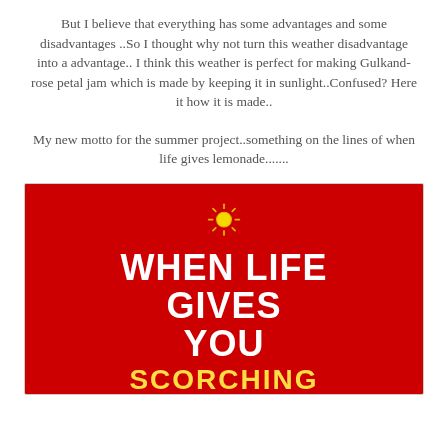But I believe that everything has some advantages and some disadvantages ..So I thought why not turn this weather disadvantage into a advantage.. I think this weather is perfect for making Gulkand- rose petal jam which is made by keeping it in sunlight..Confused? Here it how it is made..
My new motto for the summer project..something on the lines of when life gives lemonade.......
[Figure (illustration): Red poster with a sun icon at top and bold white text reading WHEN LIFE GIVES YOU, with SCORCHING partially visible at bottom]